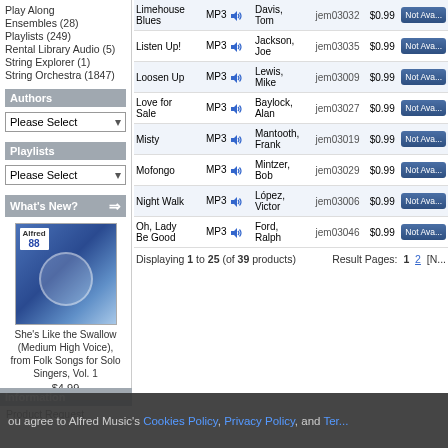Play Along
Ensembles (28)
Playlists (249)
Rental Library Audio (5)
String Explorer (1)
String Orchestra (1847)
Authors
Playlists
What's New?
[Figure (photo): Album cover for She's Like the Swallow (Medium High Voice), from Folk Songs for Solo Singers, Vol. 1 - blue toned CD cover with Alfred branding]
She's Like the Swallow (Medium High Voice), from Folk Songs for Solo Singers, Vol. 1
$4.99
| Name | Format | Author | SKU | Price | Action |
| --- | --- | --- | --- | --- | --- |
| Limehouse Blues | MP3 | Davis, Tom | jem03032 | $0.99 | Not Ava... |
| Listen Up! | MP3 | Jackson, Joe | jem03035 | $0.99 | Not Ava... |
| Loosen Up | MP3 | Lewis, Mike | jem03009 | $0.99 | Not Ava... |
| Love for Sale | MP3 | Baylock, Alan | jem03027 | $0.99 | Not Ava... |
| Misty | MP3 | Mantooth, Frank | jem03019 | $0.99 | Not Ava... |
| Mofongo | MP3 | Mintzer, Bob | jem03029 | $0.99 | Not Ava... |
| Night Walk | MP3 | López, Victor | jem03006 | $0.99 | Not Ava... |
| Oh, Lady Be Good | MP3 | Ford, Ralph | jem03046 | $0.99 | Not Ava... |
Displaying 1 to 25 (of 39 products)
Result Pages: 1 2 [N...
you agree to Alfred Music's Cookies Policy, Privacy Policy, and Ter...
Product Request